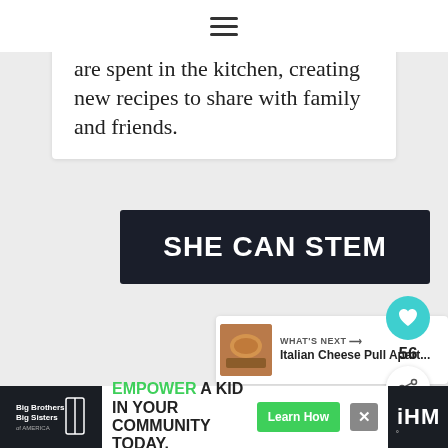≡
are spent in the kitchen, creating new recipes to share with family and friends.
[Figure (logo): SHE CAN STEM banner — dark background with white bold uppercase text]
[Figure (infographic): Heart/like button (teal circle with heart icon) with count 56, and share button below]
56
[Figure (photo): Thumbnail of Italian Cheese Pull Apart dish]
WHAT'S NEXT → Italian Cheese Pull Apart...
[Figure (infographic): Advertisement bar: Big Brothers Big Sisters logo, EMPOWER A KID IN YOUR COMMUNITY TODAY., Learn How button, close button, and iHeart radio logo]